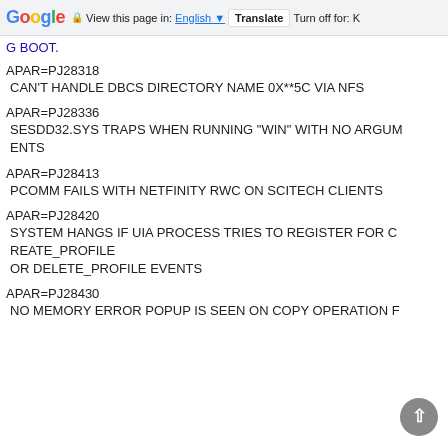Google  View this page in: English  Translate  Turn off for: K
G BOOT.
APAR=PJ28318
CAN'T HANDLE DBCS DIRECTORY NAME 0X**5C VIA NFS
APAR=PJ28336
SESDD32.SYS TRAPS WHEN RUNNING "WIN" WITH NO ARGUMENTS
APAR=PJ28413
PCOMM FAILS WITH NETFINITY RWC ON SCITECH CLIENTS
APAR=PJ28420
SYSTEM HANGS IF UIA PROCESS TRIES TO REGISTER FOR CREATE_PROFILE
OR DELETE_PROFILE EVENTS
APAR=PJ28430
NO MEMORY ERROR POPUP IS SEEN ON COPY OPERATION F